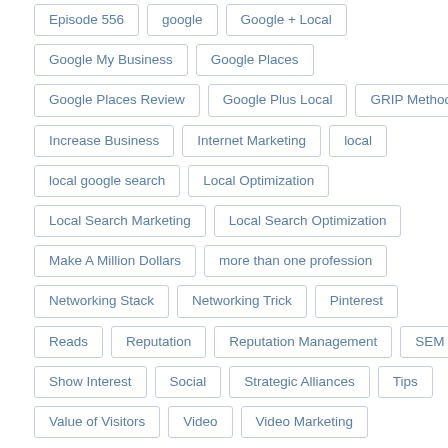Episode 556
google
Google + Local
Google My Business
Google Places
Google Places Review
Google Plus Local
GRIP Method
Increase Business
Internet Marketing
local
local google search
Local Optimization
Local Search Marketing
Local Search Optimization
Make A Million Dollars
more than one profession
Networking Stack
Networking Trick
Pinterest
Reads
Reputation
Reputation Management
SEM
Show Interest
Social
Strategic Alliances
Tips
Value of Visitors
Video
Video Marketing